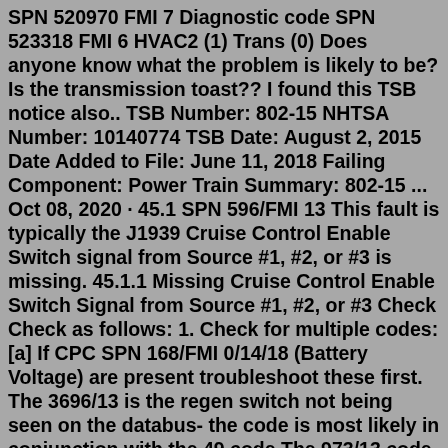SPN 520970 FMI 7 Diagnostic code SPN 523318 FMI 6 HVAC2 (1) Trans (0) Does anyone know what the problem is likely to be? Is the transmission toast?? I found this TSB notice also.. TSB Number: 802-15 NHTSA Number: 10140774 TSB Date: August 2, 2015 Date Added to File: June 11, 2018 Failing Component: Power Train Summary: 802-15 ... Oct 08, 2020 · 45.1 SPN 596/FMI 13 This fault is typically the J1939 Cruise Control Enable Switch signal from Source #1, #2, or #3 is missing. 45.1.1 Missing Cruise Control Enable Switch Signal from Source #1, #2, or #3 Check Check as follows: 1. Check for multiple codes: [a] If CPC SPN 168/FMI 0/14/18 (Battery Voltage) are present troubleshoot these first. The 3696/13 is the regen switch not being seen on the databus- the code is most likely in conjunction with the 49 code The 973/13 code is a missing engine retarder switch- also mostly having to do with the MSF code.1 10 16-13 SUBJECT DATE SPN 3216/FMI 13 - EPA10/GHG14 October 2013 Addition Revision Update DDC SVC MAN...